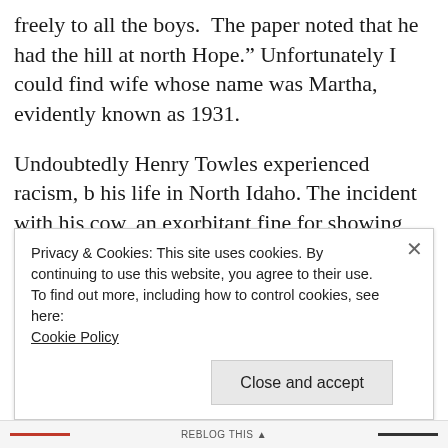freely to all the boys. The paper noted that he had the hill at north Hope." Unfortunately I could find wife whose name was Martha, evidently known as 1931.
Undoubtedly Henry Towles experienced racism, b his life in North Idaho. The incident with his cow, an exorbitant fine for showing “disrespect,” is one photograph at the museum is labeled as “N—-r He resident who I interviewed in the 1970s used the sa
Privacy & Cookies: This site uses cookies. By continuing to use this website, you agree to their use.
To find out more, including how to control cookies, see here: Cookie Policy

Close and accept